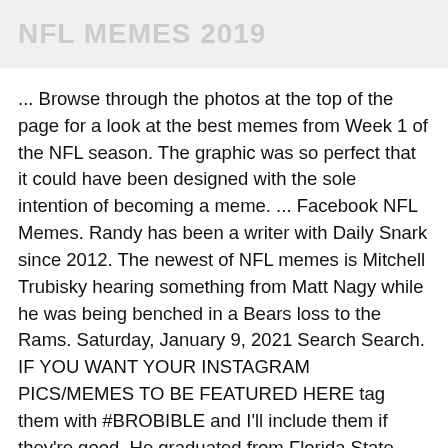NFL MEMES 2019
... Browse through the photos at the top of the page for a look at the best memes from Week 1 of the NFL season. The graphic was so perfect that it could have been designed with the sole intention of becoming a meme. ... Facebook NFL Memes. Randy has been a writer with Daily Snark since 2012. The newest of NFL memes is Mitchell Trubisky hearing something from Matt Nagy while he was being benched in a Bears loss to the Rams. Saturday, January 9, 2021 Search Search. IF YOU WANT YOUR INSTAGRAM PICS/MEMES TO BE FEATURED HERE tag them with #BROBIBLE and I'll include them if they're good. He graduated from Florida State University, has been to more Phish concerts than he'd like to admit, and primarily specializes in Outdoors and Gear-related content. See more ideas about football memes, nfl memes, sports memes. [Not affiliated with